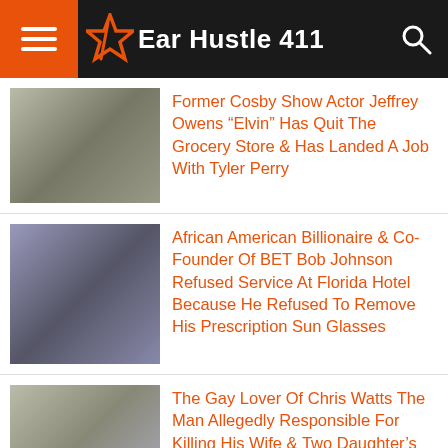Ear Hustle 411
Former Cosby Show Actor Jeffrey Owens “Elvin” Has Quit The Grocery Store & Has Landed A Job With Tyler Perry
African American Billionaire & Co-Founder Of BET Bob Johnson Refused Service At Florida Hotel Because He Refused To Remove His Prescription Sun Glasses
The Gay Lover Of Chris Watts The Man Allegedly Responsible For Killing His Wife & Two Daughter’s Speaks Out
Francesca’s
40% off almost everything
francescas.com